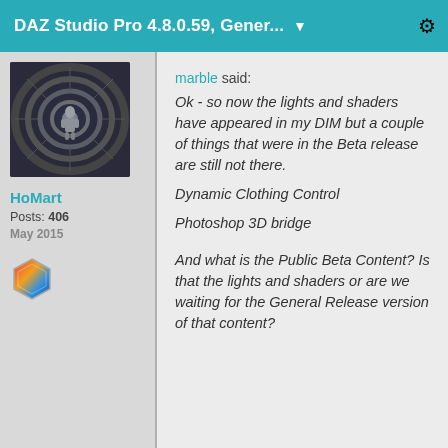DAZ Studio Pro 4.8.0.59, Gener... ▼
[Figure (photo): Avatar image of user HoMart showing a sci-fi tunnel scene]
HoMart
Posts: 406
May 2015
[Figure (illustration): Hexagonal colorful badge icon]
marble said:
Ok - so now the lights and shaders have appeared in my DIM but a couple of things that were in the Beta release are still not there.
Dynamic Clothing Control

Photoshop 3D bridge

And what is the Public Beta Content? Is that the lights and shaders or are we waiting for the General Release version of that content?